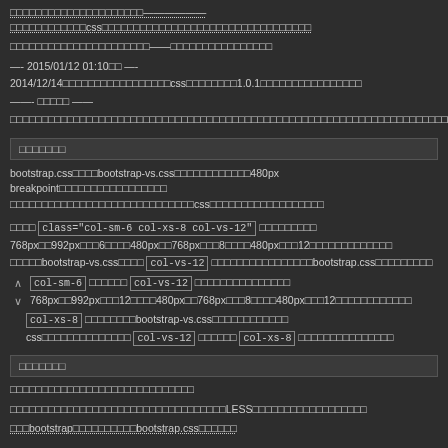（省略）—css（省略）（省略）
（省略）（省略）
—- 2015/01/12 01:10（省略） —-
2014/12/14（省略）css（省略）1.0.1（省略）
——- （省略） ——
（省略）
（省略）
bootstrap.css（省略）bootstrap-vs.css（省略）480px breakpoint（省略）（省略）css（省略）
（省略）class="col-sm-6 col-xs-8 col-vs-12"（省略）768px（省略）992px（省略）6（省略）480px（省略）768px（省略）8（省略）480px（省略）12（省略）（省略）bootstrap-vs.css（省略）col-vs-12（省略）bootstrap.css（省略）col-sm-6（省略）col-vs-12（省略）768px（省略）992px（省略）12（省略）480px（省略）768px（省略）8（省略）480px（省略）12（省略）col-xs-8（省略）bootstrap-vs.css（省略）css（省略）col-vs-12（省略）col-xs-8（省略）
（省略）
（省略）
（省略）LESS（省略）
（省略）bootstrap（省略）bootstrap.css（省略）